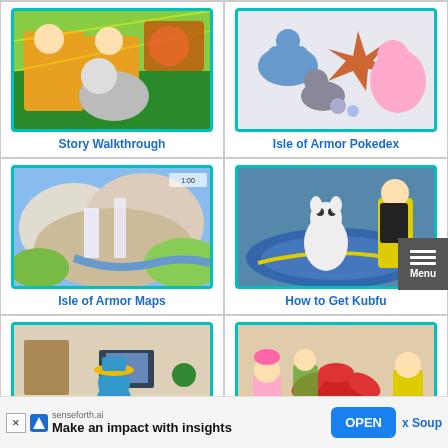[Figure (screenshot): Story Walkthrough thumbnail - Pokemon Sword/Shield characters running with Pokemon]
Story Walkthrough
[Figure (screenshot): Isle of Armor Pokedex thumbnail - various Pokemon group shot]
Isle of Armor Pokedex
[Figure (screenshot): Isle of Armor Maps thumbnail - scenic landscape with waterfalls]
Isle of Armor Maps
[Figure (screenshot): How to Get Kubfu thumbnail - trainer with Kubfu Pokemon in arena]
How to Get Kubfu
[Figure (screenshot): Bottom-left thumbnail - interior room with Pokemon character]
[Figure (screenshot): Bottom-right thumbnail - group of characters around a pot of soup]
x Soup
senseforth.ai
Make an impact with insights
OPEN